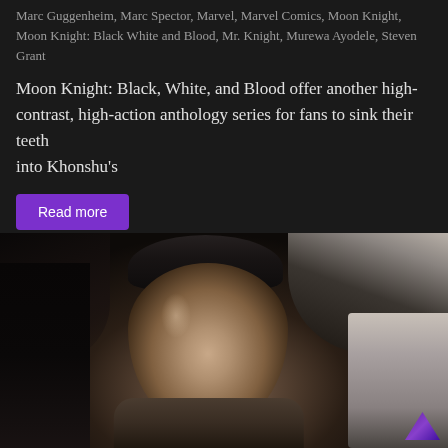Marc Guggenheim, Marc Spector, Marvel, Marvel Comics, Moon Knight, Moon Knight: Black White and Blood, Mr. Knight, Murewa Ayodele, Steven Grant
Moon Knight: Black, White, and Blood offer another high-contrast, high-action anthology series for fans to sink their teeth into Khonshu’s
Read more
[Figure (photo): A dark cinematic photo of a man wearing a flat cap and scarf, seated inside a dark car interior. He has a serious expression. The right side of the image shows a shiny car panel and a small purple triangular accent in the bottom right corner.]